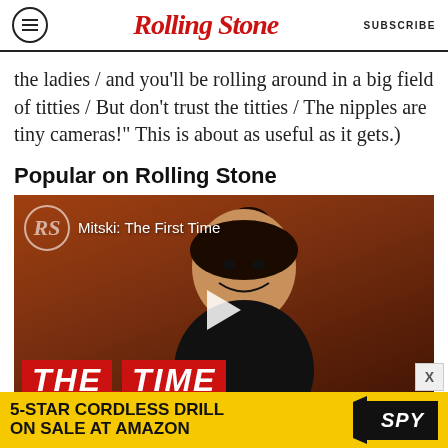Rolling Stone | SUBSCRIBE
the ladies / and you'll be rolling around in a big field of titties / But don't trust the titties / The nipples are tiny cameras!" This is about as useful as it gets.)
Popular on Rolling Stone
[Figure (screenshot): Video thumbnail showing a person smiling against an orange background, Rolling Stone watermark logo top left, title 'Mitski: The First Time', play button in center, red 'THE FIRST TIME' banner at bottom]
[Figure (other): Advertisement banner: '5-STAR CORDLESS DRILL ON SALE AT AMAZON' with yellow background and SPY logo]